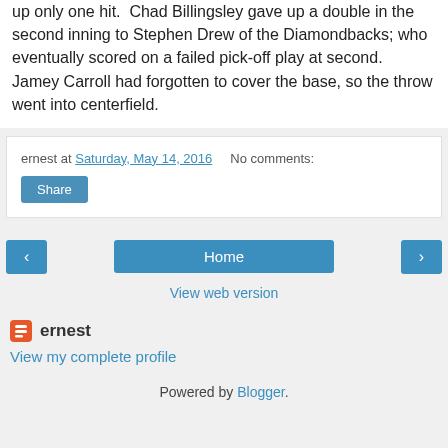up only one hit. Chad Billingsley gave up a double in the second inning to Stephen Drew of the Diamondbacks; who eventually scored on a failed pick-off play at second. Jamey Carroll had forgotten to cover the base, so the throw went into centerfield.
ernest at Saturday, May 14, 2016   No comments:
Share
Home
View web version
ernest
View my complete profile
Powered by Blogger.